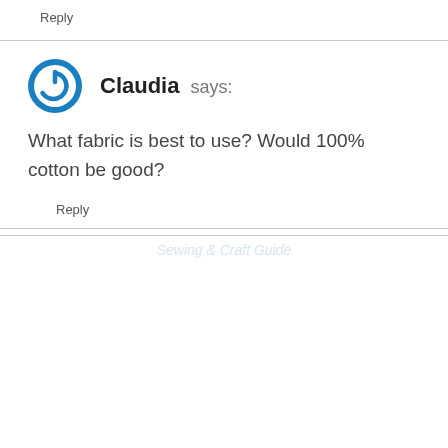Reply
Claudia says:
What fabric is best to use? Would 100% cotton be good?
Reply